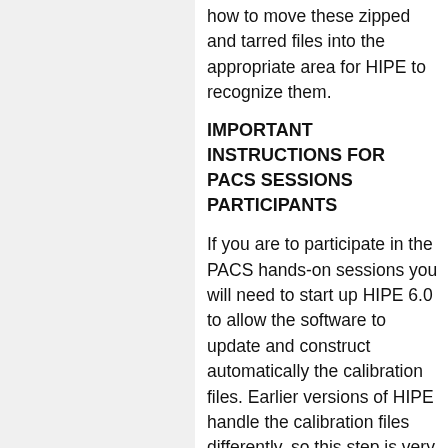how to move these zipped and tarred files into the appropriate area for HIPE to recognize them.
IMPORTANT INSTRUCTIONS FOR PACS SESSIONS PARTICIPANTS
If you are to participate in the PACS hands-on sessions you will need to start up HIPE 6.0 to allow the software to update and construct automatically the calibration files. Earlier versions of HIPE handle the calibration files differently, so this step is very important. When the software is started up for the first time it will ask you to update the calibration. You should accept the update and allow some time for the